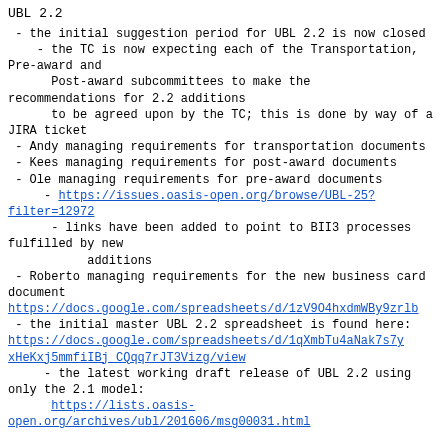UBL 2.2
- the initial suggestion period for UBL 2.2 is now closed
- the TC is now expecting each of the Transportation, Pre-award and
      Post-award subcommittees to make the recommendations for 2.2 additions
      to be agreed upon by the TC; this is done by way of a JIRA ticket
- Andy managing requirements for transportation documents
- Kees managing requirements for post-award documents
- Ole managing requirements for pre-award documents
- https://issues.oasis-open.org/browse/UBL-25?filter=12972
- links have been added to point to BII3 processes fulfilled by new
           additions
- Roberto managing requirements for the new business card document
https://docs.google.com/spreadsheets/d/1zV9O4hxdmWBy9zrlb
- the initial master UBL 2.2 spreadsheet is found here:
https://docs.google.com/spreadsheets/d/1qXmbTu4aNak7s7yxHeKxj5mmfiIBj_CQqq7rJT3Vizg/view
- the latest working draft release of UBL 2.2 using only the 2.1 model:
      https://lists.oasis-open.org/archives/ubl/201606/msg00031.html